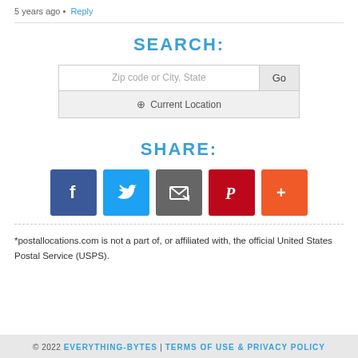5 years ago • Reply
SEARCH:
Zip code or City, State
⊕ Current Location
SHARE:
[Figure (infographic): Social share buttons: Facebook (blue), Twitter (light blue), Email (gray), Pinterest (red), More (orange-red)]
*postallocations.com is not a part of, or affiliated with, the official United States Postal Service (USPS).
© 2022 EVERYTHING-BYTES | TERMS OF USE & PRIVACY POLICY